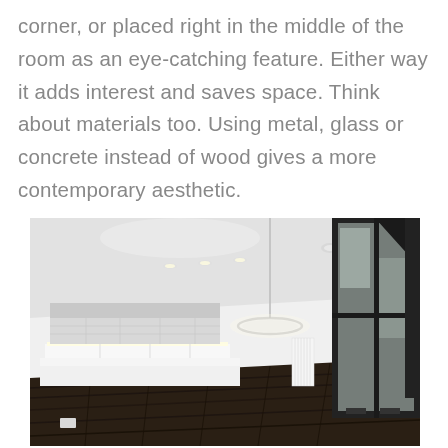corner, or placed right in the middle of the room as an eye-catching feature. Either way it adds interest and saves space. Think about materials too. Using metal, glass or concrete instead of wood gives a more contemporary aesthetic.
[Figure (photo): Interior photo of a modern open-plan kitchen and living area with white walls, dark wood flooring, white kitchen units with under-cabinet lighting, a circular pendant light, recessed ceiling lights, a white vertical radiator, and a large black-framed sliding glass door/window to the right.]